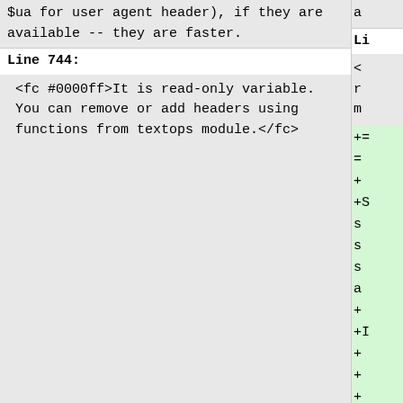$ua for user agent header), if they are available -- they are faster.
Line 744:
<fc #0000ff>It is read-only variable. You can remove or add headers using functions from textops module.</fc>
+= = + +S s s s a + +I + + +